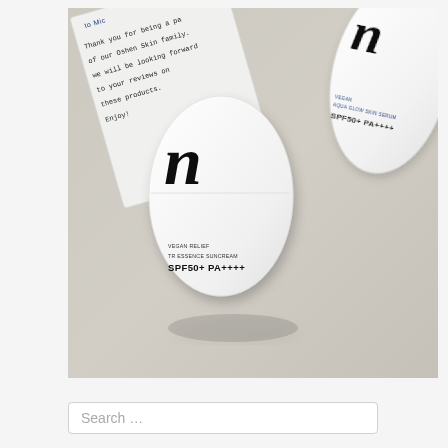[Figure (photo): Product photo showing two white egg-shaped Korean skincare sunscreen containers (with 'n' logo, one labeled 'Vegan Relief TR Essence Suncream SPF50+ PA++++' and another partially visible labeled 'Aqua Glow Skin Serum SPF50+ PA++++') placed on a light gray concrete surface, alongside a handwritten thank-you note card from Oshen Skin brand.]
Search ...